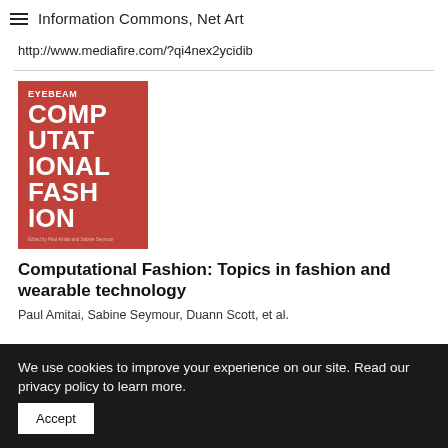Information Commons, Net Art
http://www.mediafire.com/?qi4nex2ycidib
[Figure (illustration): Book cover for 'Computational Fashion' by Eyebeam. Red background with large white bold text reading COMPUTATIONAL FASHION arranged in stacked lines. Small text at bottom credits editors Paul Amitai and Sabine Seymour.]
Computational Fashion: Topics in fashion and wearable technology
Paul Amitai, Sabine Seymour, Duann Scott, et al.
We use cookies to improve your experience on our site. Read our privacy policy to learn more. Accept